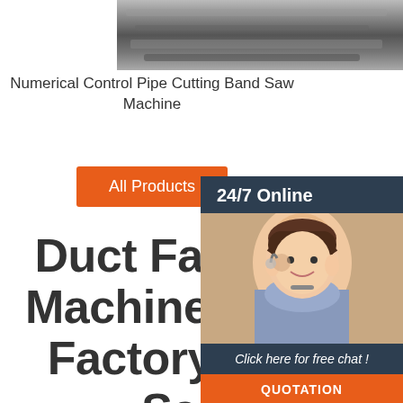[Figure (photo): Close-up photo of a numerical control pipe cutting band saw machine showing metal cutting in progress]
Numerical Control Pipe Cutting Band Saw Machine
[Figure (photo): 24/7 Online chat widget showing a smiling female customer service representative wearing a headset, with 'Click here for free chat!' text and a QUOTATION button]
All Products
Duct Fabrication Machine Auto Line Factory Direct Sales Multifunction Automatic